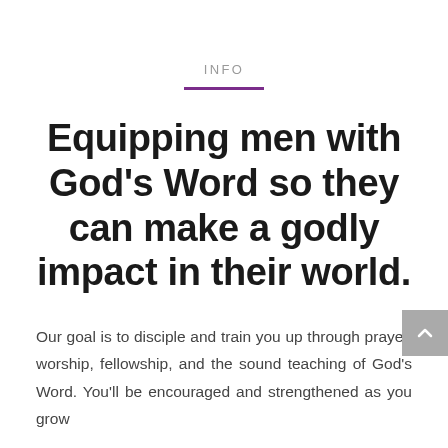INFO
Equipping men with God's Word so they can make a godly impact in their world.
Our goal is to disciple and train you up through prayer, worship, fellowship, and the sound teaching of God's Word. You'll be encouraged and strengthened as you grow